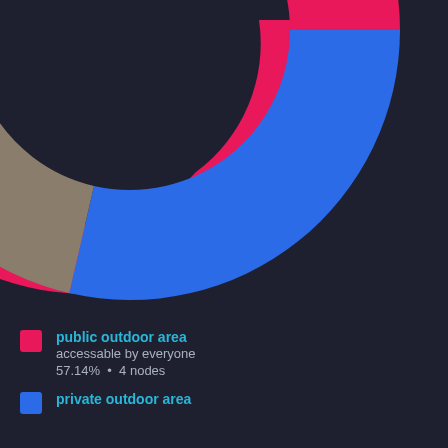[Figure (donut-chart): Outdoor area access types]
public outdoor area
accessable by everyone
57.14%  •  4 nodes
private outdoor area